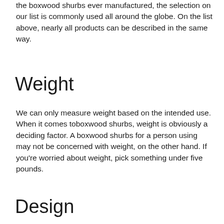the boxwood shurbs ever manufactured, the selection on our list is commonly used all around the globe. On the list above, nearly all products can be described in the same way.
Weight
We can only measure weight based on the intended use. When it comes toboxwood shurbs, weight is obviously a deciding factor. A boxwood shurbs for a person using may not be concerned with weight, on the other hand. If you're worried about weight, pick something under five pounds.
Design